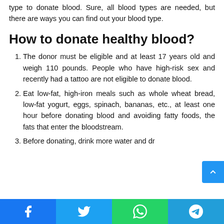type to donate blood. Sure, all blood types are needed, but there are ways you can find out your blood type.
How to donate healthy blood?
The donor must be eligible and at least 17 years old and weigh 110 pounds. People who have high-risk sex and recently had a tattoo are not eligible to donate blood.
Eat low-fat, high-iron meals such as whole wheat bread, low-fat yogurt, eggs, spinach, bananas, etc., at least one hour before donating blood and avoiding fatty foods, the fats that enter the bloodstream.
Before donating, drink more water and dr…